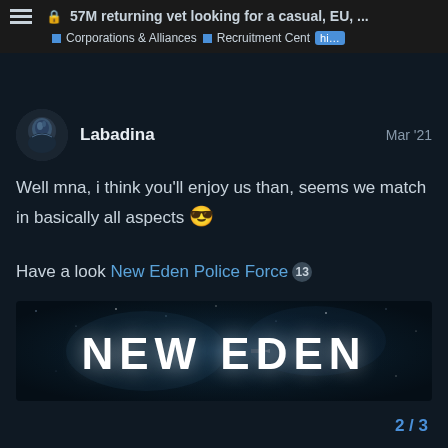🔒 57M returning vet looking for a casual, EU, ... | Corporations & Alliances | Recruitment Centre | hi...
Well mna, i think you'll enjoy us than, seems we match in basically all aspects 😎

Have a look New Eden Police Force 13
[Figure (photo): Banner image for 'New Eden Police Force' — dark space-themed backdrop with large bold white text reading NEW EDEN]
2 / 3